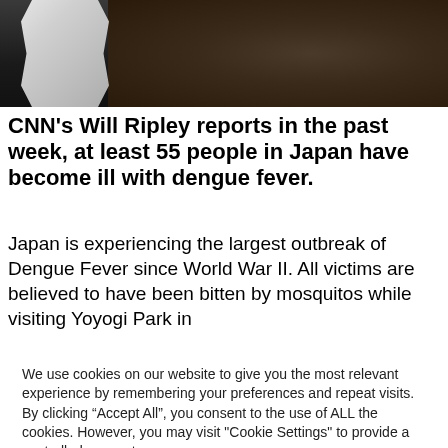[Figure (photo): A person in a white protective suit/hazmat gear photographed against a dark soil or ground background]
CNN's Will Ripley reports in the past week, at least 55 people in Japan have become ill with dengue fever.
Japan is experiencing the largest outbreak of Dengue Fever since World War II. All victims are believed to have been bitten by mosquitos while visiting Yoyogi Park in
We use cookies on our website to give you the most relevant experience by remembering your preferences and repeat visits. By clicking “Accept All”, you consent to the use of ALL the cookies. However, you may visit "Cookie Settings" to provide a controlled consent.